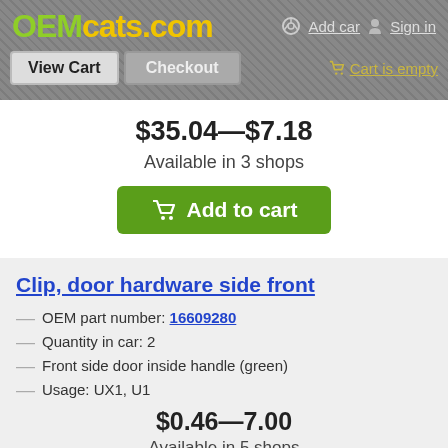OEMcats.com — Add car | Sign in | View Cart | Checkout | Cart is empty
$35.04—$7.18
Available in 3 shops
Add to cart
Clip, door hardware side front
OEM part number: 16609280
Quantity in car: 2
Front side door inside handle (green)
Usage: UX1, U1
$0.46—7.00
Available in 5 shops